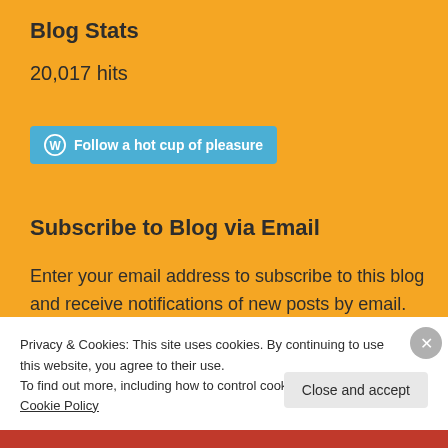Blog Stats
20,017 hits
[Figure (other): Follow button with WordPress icon: 'Follow a hot cup of pleasure']
Subscribe to Blog via Email
Enter your email address to subscribe to this blog and receive notifications of new posts by email.
Privacy & Cookies: This site uses cookies. By continuing to use this website, you agree to their use.
To find out more, including how to control cookies, see here: Cookie Policy
Close and accept